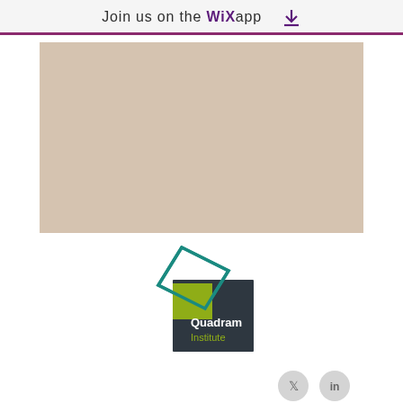Join us on the WiX app
[Figure (illustration): Beige/tan rectangular placeholder image area]
[Figure (logo): Quadram Institute logo: dark teal square with yellow-green square inset and white text 'Quadram Institute', with a teal diamond outline shape above-left]
[Figure (other): Twitter and LinkedIn social media icon buttons (grey circles)]
© 2023 by Scientist Personal. Proudly created with Wix.com